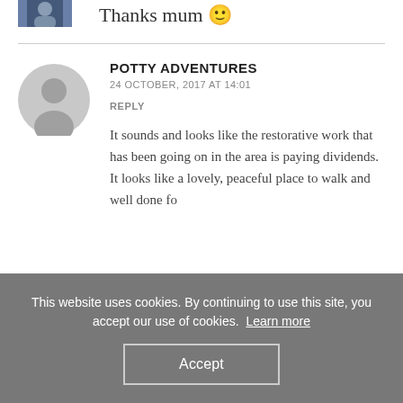[Figure (photo): Partial avatar image of a person, cropped at top of page]
Thanks mum 🙂
POTTY ADVENTURES
24 OCTOBER, 2017 AT 14:01
REPLY
[Figure (illustration): Gray circular default avatar with silhouette of a person]
It sounds and looks like the restorative work that has been going on in the area is paying dividends. It looks like a lovely, peaceful place to walk and well done fo...
This website uses cookies. By continuing to use this site, you accept our use of cookies.  Learn more
Accept